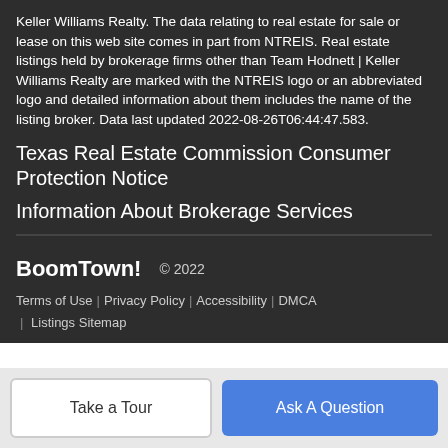Keller Williams Realty. The data relating to real estate for sale or lease on this web site comes in part from NTREIS. Real estate listings held by brokerage firms other than Team Hodnett | Keller Williams Realty are marked with the NTREIS logo or an abbreviated logo and detailed information about them includes the name of the listing broker. Data last updated 2022-08-26T06:44:47.583.
Texas Real Estate Commission Consumer Protection Notice
Information About Brokerage Services
BoomTown!  © 2022
Terms of Use | Privacy Policy | Accessibility | DMCA | Listings Sitemap
Take a Tour
Ask A Question